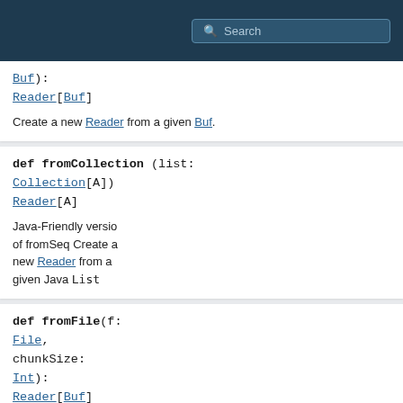Search
Buf): Reader[Buf]
Create a new Reader from a given Buf.
def fromCollection(list: Collection[A]): Reader[A]
Java-Friendly version of fromSeq Create a new Reader from a given Java List
def fromFile(f: File, chunkSize: Int): Reader[Buf]
Create a new Reader from a given File.